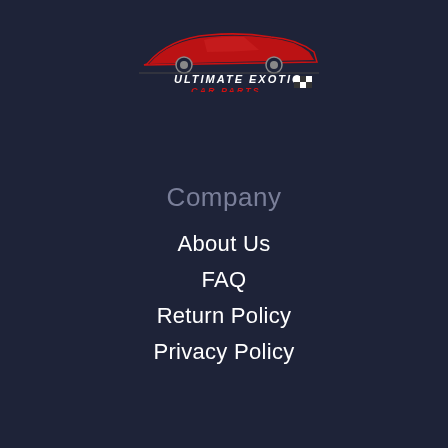[Figure (logo): Ultimate Exotic Car Parts logo with red sports car silhouette and checkered flag elements]
Company
About Us
FAQ
Return Policy
Privacy Policy
Infomation
Shop
Blog